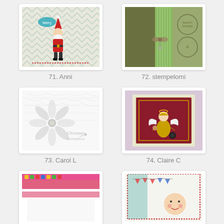[Figure (photo): Christmas card with Santa Claus figure on chevron background with 'Merry' speech bubble]
71. Anni
[Figure (photo): Olive green and striped card with circular cutouts and a bow]
72. stempelomi
[Figure (photo): White Christmas card with poinsettia flower and 'Christmas Blessings' script]
73. Carol L
[Figure (photo): Dark red card with angel/fairy figure with white wings and gold dress]
74. Claire C
[Figure (photo): Colorful Christmas card partially visible at bottom left]
[Figure (photo): Christmas card partially visible at bottom right]